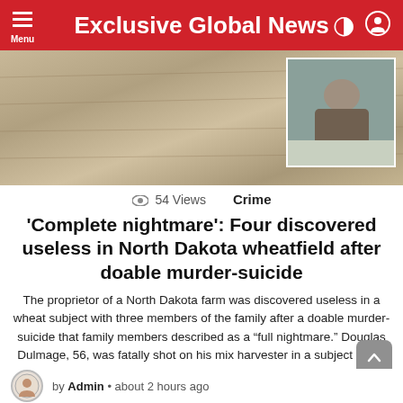Exclusive Global News
[Figure (photo): Hero image of a wheat field/dry grass background with an inset photo of a person outdoors in winter/hunting attire]
54 Views   Crime
'Complete nightmare': Four discovered useless in North Dakota wheatfield after doable murder-suicide
The proprietor of a North Dakota farm was discovered useless in a wheat subject with three members of the family after a doable murder-suicide that family members described as a "full nightmare." Douglas Dulmage, 56, was fatally shot on his mix harvester in a subject south of Cando on Monday, pals and police stated. Three [...] MORE
Share this:
More
by Admin • about 2 hours ago